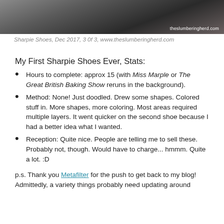[Figure (photo): Top portion of a photo showing Sharpie-decorated shoes with dark/monochrome pattern, watermark 'theslumberingherd.com' in bottom right]
Sharpie Shoes, Dec 2017, 3 0f 3, www.theslumberingherd.com
My First Sharpie Shoes Ever, Stats:
Hours to complete: approx 15 (with Miss Marple or The Great British Baking Show reruns in the background).
Method: None! Just doodled. Drew some shapes. Colored stuff in. More shapes, more coloring. Most areas required multiple layers. It went quicker on the second shoe because I had a better idea what I wanted.
Reception: Quite nice. People are telling me to sell these. Probably not, though. Would have to charge... hmmm. Quite a lot. :D
p.s. Thank you Metafilter for the push to get back to my blog! Admittedly, a variety things probably need updating around